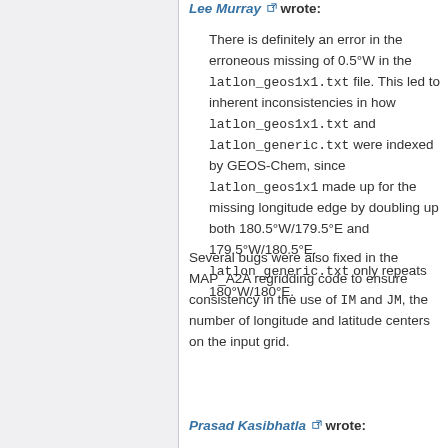Lee Murray wrote:
There is definitely an error in the erroneous missing of 0.5°W in the latlon_geos1x1.txt file. This led to inherent inconsistencies in how latlon_geos1x1.txt and latlon_generic.txt were indexed by GEOS-Chem, since latlon_geos1x1 made up for the missing longitude edge by doubling up both 180.5°W/179.5°E and 179.5°W/180.5°E. latlon_generic.txt only repeats 180°W/180°E.
Several bugs were also fixed in the MAP_A2A regridding code to ensure consistency in the use of IM and JM, the number of longitude and latitude centers on the input grid.
Prasad Kasibhatla wrote: